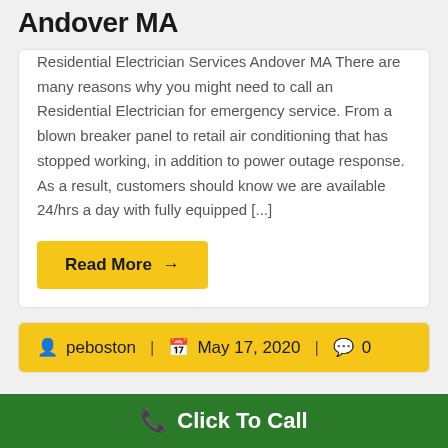Andover MA
Residential Electrician Services Andover MA There are many reasons why you might need to call an Residential Electrician for emergency service. From a blown breaker panel to retail air conditioning that has stopped working, in addition to power outage response. As a result, customers should know we are available 24/hrs a day with fully equipped [...]
Read More →
peboston  |  May 17, 2020  |  0
Click To Call